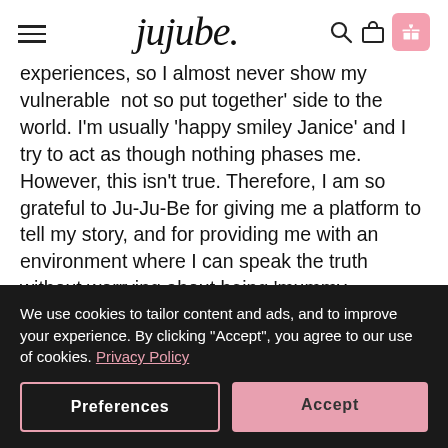jujube. [logo with hamburger menu, search, bag, and gift icons]
experiences, so I almost never show my vulnerable 'not so put together' side to the world. I'm usually 'happy smiley Janice' and I try to act as though nothing phases me. However, this isn't true. Therefore, I am so grateful to Ju-Ju-Be for giving me a platform to tell my story, and for providing me with an environment where I can speak the truth without worrying about being 'mummy shamed'. Through my blog, I want to reach out to other mums who have, or who are going through what I went
We use cookies to tailor content and ads, and to improve your experience. By clicking "Accept", you agree to our use of cookies. Privacy Policy
Preferences | Accept